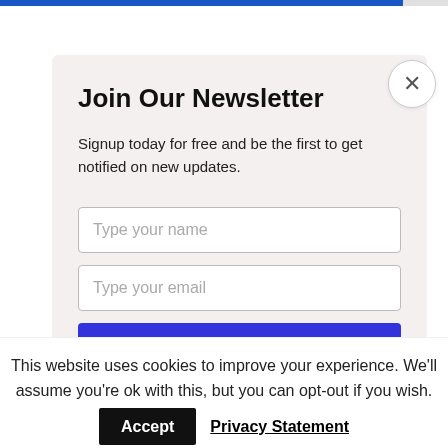[Figure (screenshot): Newsletter signup modal overlay with title 'Join Our Newsletter', description text, name and email input fields, and a blue SUBSCRIBE NOW button. A close (×) button appears in the top right corner of the modal.]
developer Nic Johns told CNN.
This website uses cookies to improve your experience. We'll assume you're ok with this, but you can opt-out if you wish.
Accept   Privacy Statement